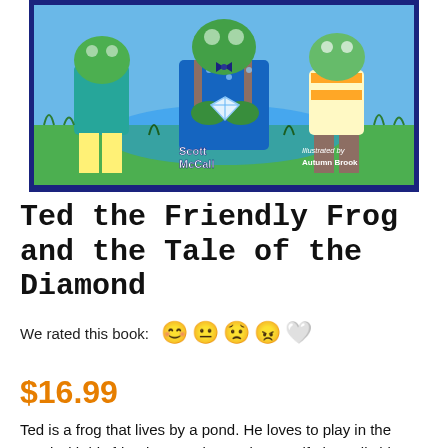[Figure (illustration): Book cover illustration for 'Ted the Friendly Frog and the Tale of the Diamond' by Scott McCall, illustrated by Autumn Brook. Shows cartoon frog characters near a pond, one holding a diamond. Dark blue border around the cover image.]
Ted the Friendly Frog and the Tale of the Diamond
We rated this book:
$16.99
Ted is a frog that lives by a pond. He loves to play in the pond with his friends. One day, Ted's grandfather tells him that he's going on a trip, and